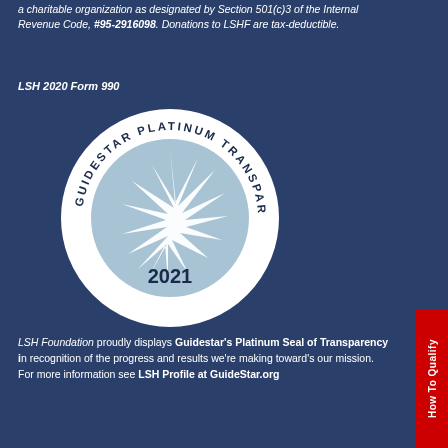a charitable organization as designated by Section 501(c)3 of the Internal Revenue Code, #95-2916098. Donations to LSHF are tax-deductible.
LSH 2020 Form 990
[Figure (logo): GuideStar Platinum Transparency 2021 seal — circular badge with star motif, text around the ring reads GUIDESTAR PLATINUM TRANSPARENCY, year 2021 at the bottom]
LSH Foundation proudly displays Guidestar's Platinum Seal of Transparency in recognition of the progress and results we're making toward's our mission.  For more information see LSH Profile at GuideStar.org